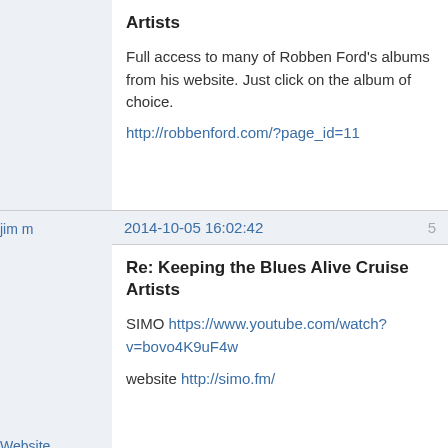Artists
Full access to many of Robben Ford's albums from his website.  Just click on the album of choice.
http://robbenford.com/?page_id=11
jim m
2014-10-05 16:02:42
5
Re: Keeping the Blues Alive Cruise Artists
SIMO https://www.youtube.com/watch?v=bovo4K9uF4w
website http://simo.fm/
Website